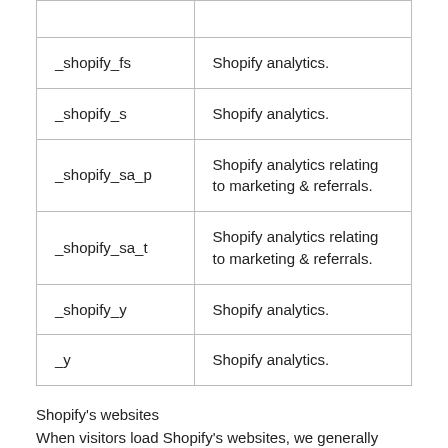| Cookie Name | Description |
| --- | --- |
|  |  |
| _shopify_fs | Shopify analytics. |
| _shopify_s | Shopify analytics. |
| _shopify_sa_p | Shopify analytics relating to marketing & referrals. |
| _shopify_sa_t | Shopify analytics relating to marketing & referrals. |
| _shopify_y | Shopify analytics. |
| _y | Shopify analytics. |
Shopify's websites
When visitors load Shopify's websites, we generally place the following Shopify cookies:
Cookies Necessary for the Functioning of the Sites